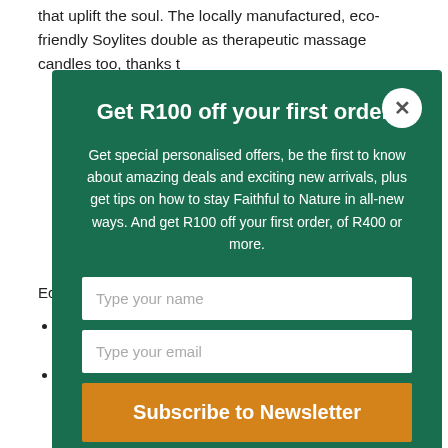that uplift the soul. The locally manufactured, eco-friendly Soylites double as therapeutic massage candles too, thanks t...
Get R100 off your first order!
Get special personalised offers, be the first to know about amazing deals and exciting new arrivals, plus get tips on how to stay Faithful to Nature in all-new ways. And get R100 off your first order, of R400 or more.
Eco-chic at its best.
No chemicals, no artificial preservatives, no petroleum derivatives
Pure cotton wick in glass container